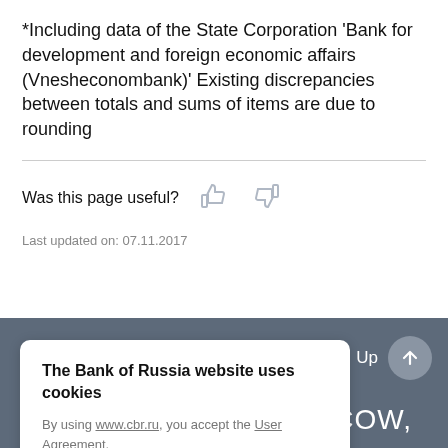*Including data of the State Corporation 'Bank for development and foreign economic affairs (Vnesheconombank)' Existing discrepancies between totals and sums of items are due to rounding
Was this page useful?
Last updated on: 07.11.2017
The Bank of Russia website uses cookies
By using www.cbr.ru, you accept the User Agreement.
Accept